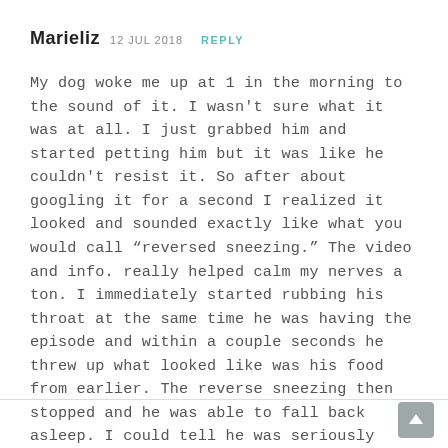Marieliz 12 JUL 2018 REPLY
My dog woke me up at 1 in the morning to the sound of it. I wasn't sure what it was at all. I just grabbed him and started petting him but it was like he couldn't resist it. So after about googling it for a second I realized it looked and sounded exactly like what you would call “reversed sneezing.” The video and info. really helped calm my nerves a ton. I immediately started rubbing his throat at the same time he was having the episode and within a couple seconds he threw up what looked like was his food from earlier. The reverse sneezing then stopped and he was able to fall back asleep. I could tell he was seriously tired. But do you happen to know why he threw up in addition to? I’m not sure if I should be worried.